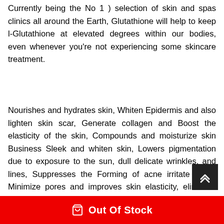Currently being the No 1 ) selection of skin and spas clinics all around the Earth, Glutathione will help to keep l-Glutathione at elevated degrees within our bodies, even whenever you're not experiencing some skincare treatment.
Nourishes and hydrates skin, Whiten Epidermis and also lighten skin scar, Generate collagen and Boost the elasticity of the skin, Compounds and moisturize skin Business Sleek and whiten skin, Lowers pigmentation due to exposure to the sun, dull delicate wrinkles, and lines, Suppresses the Forming of acne irritate pim... Minimize pores and improves skin elasticity, eliminate surplus Completely Free radicals which can cause strange...
Out Of Stock